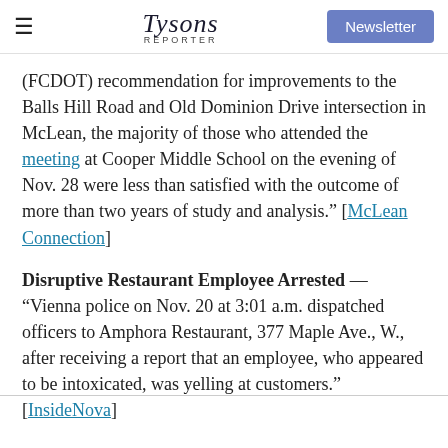Tysons Reporter | Newsletter
(FCDOT) recommendation for improvements to the Balls Hill Road and Old Dominion Drive intersection in McLean, the majority of those who attended the meeting at Cooper Middle School on the evening of Nov. 28 were less than satisfied with the outcome of more than two years of study and analysis." [McLean Connection]
Disruptive Restaurant Employee Arrested — "Vienna police on Nov. 20 at 3:01 a.m. dispatched officers to Amphora Restaurant, 377 Maple Ave., W., after receiving a report that an employee, who appeared to be intoxicated, was yelling at customers." [InsideNova]